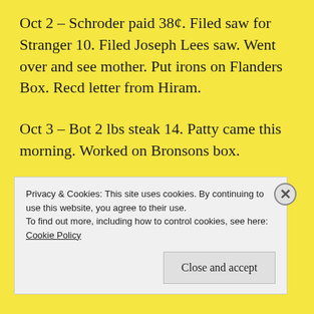Oct 2 – Schroder paid 38¢. Filed saw for Stranger 10. Filed Joseph Lees saw. Went over and see mother. Put irons on Flanders Box. Recd letter from Hiram.
Oct 3 – Bot 2 lbs steak 14. Patty came this morning. Worked on Bronsons box.
Oct 4 – Worked on Bronsons Box some. Stranger paid 10¢. Oscar called here.
Privacy & Cookies: This site uses cookies. By continuing to use this website, you agree to their use.
To find out more, including how to control cookies, see here: Cookie Policy
Close and accept